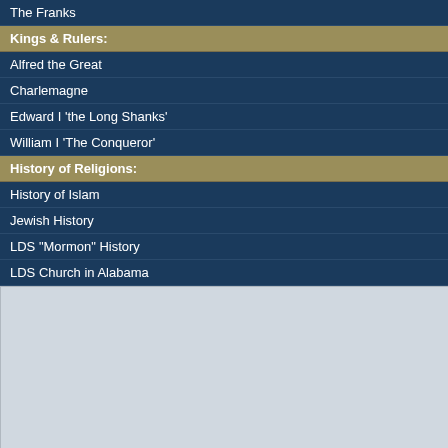The Franks
Kings & Rulers:
Alfred the Great
Charlemagne
Edward I 'the Long Shanks'
William I 'The Conqueror'
History of Religions:
History of Islam
Jewish History
LDS "Mormon" History
LDS Church in Alabama
The site also has a section dedicated to bios and links to many families. This genealogical information and data.
Kings & Rulers
History and biography of Charlemagne, Edward I, Ethelbald, Ethelbert...
Western Civilizati...
History of the Anglo... the Celts, the Frank... and the Vikings.
Local Histories
Links to Alabama a...
History of Religio...
Links to histories o...
Islam
Jewish History
The Church of Jesus...
Family Histories